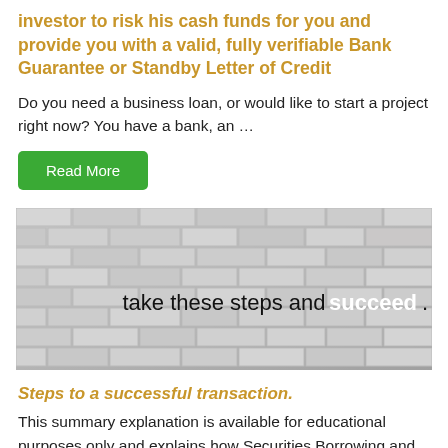investor to risk his cash funds for you and provide you with a valid, fully verifiable Bank Guarantee or Standby Letter of Credit
Do you need a business loan, or would like to start a project right now? You have a bank, an …
Read More
[Figure (photo): Photo of stacked white/grey stone or concrete blocks with text overlay reading 'take these steps and succeed.']
Steps to a successful transaction.
This summary explanation is available for educational purposes only and explains how Securities Borrowing and Lending is utilized by